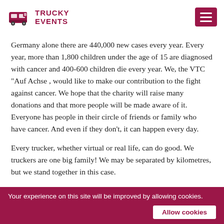TRUCKY EVENTS
Germany alone there are 440,000 new cases every year. Every year, more than 1,800 children under the age of 15 are diagnosed with cancer and 400-600 children die every year. We, the VTC "Auf Achse , would like to make our contribution to the fight against cancer. We hope that the charity will raise many donations and that more people will be made aware of it. Everyone has people in their circle of friends or family who have cancer. And even if they don't, it can happen every day.
Every trucker, whether virtual or real life, can do good. We truckers are one big family! We may be separated by kilometres, but we stand together in this case.
Let's do good and raise money together to help the fight
Your experience on this site will be improved by allowing cookies. Allow cookies